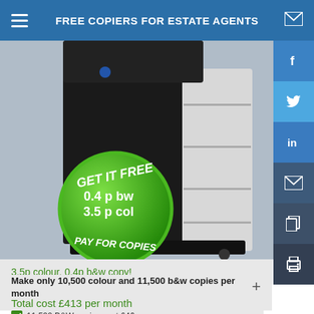FREE COPIERS FOR ESTATE AGENTS
[Figure (photo): Konica Minolta bizhub copier machine in black and white with a green circular badge overlay reading GET IT FREE 0.4p bw 3.5p col PAY FOR COPIES]
3.5p colour, 0.4p b&w copy!
Make only 10,500 colour and 11,500 b&w copies per month
Total cost £413 per month
11,500 B&W copies cost £46
10,500 Colour copies cost £367